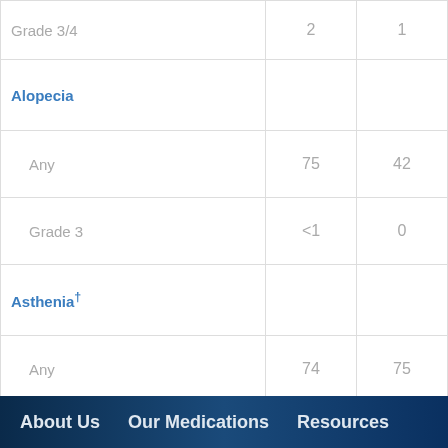|  | Col1 | Col2 |
| --- | --- | --- |
| Grade 3/4 | 2 | 1 |
| Alopecia |  |  |
| Any | 75 | 42 |
| Grade 3 | <1 | 0 |
| Asthenia† |  |  |
| Any | 74 | 75 |
| All severe or life-threatening events | 12 | 14 |
| Nail Disorder† |  |  |
| Any | 14 | <1 |
About Us   Our Medications   Resources